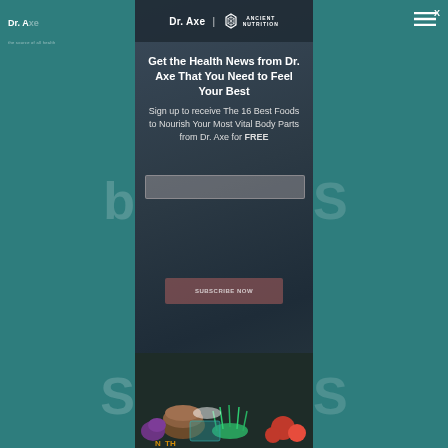[Figure (screenshot): Dr. Axe website email signup modal overlay with dark slate textured background. Shows Dr. Axe | Ancient Nutrition logo at top, headline text, subheadline, email input field, and subscribe button. Teal sidebar panels on left and right. Food photo strip at bottom showing vegetables, mushrooms, tomatoes, microgreens.]
Get the Health News from Dr. Axe That You Need to Feel Your Best
Sign up to receive The 16 Best Foods to Nourish Your Most Vital Body Parts from Dr. Axe for FREE